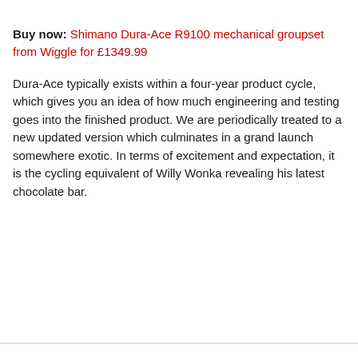Buy now: Shimano Dura-Ace R9100 mechanical groupset from Wiggle for £1349.99
Dura-Ace typically exists within a four-year product cycle, which gives you an idea of how much engineering and testing goes into the finished product. We are periodically treated to a new updated version which culminates in a grand launch somewhere exotic. In terms of excitement and expectation, it is the cycling equivalent of Willy Wonka revealing his latest chocolate bar.